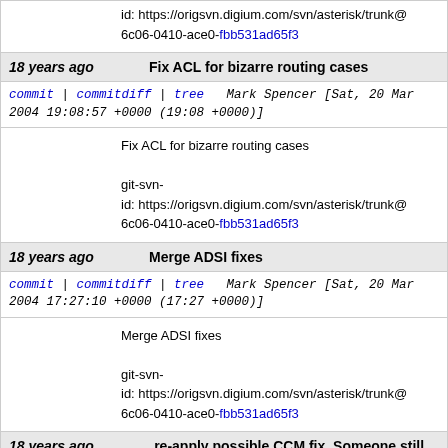id: https://origsvn.digium.com/svn/asterisk/trunk@6c06-0410-ace0-fbb531ad65f3
18 years ago   Fix ACL for bizarre routing cases
commit | commitdiff | tree   Mark Spencer [Sat, 20 Mar 2004 19:08:57 +0000 (19:08 +0000)]
Fix ACL for bizarre routing cases

git-svn-id: https://origsvn.digium.com/svn/asterisk/trunk@6c06-0410-ace0-fbb531ad65f3
18 years ago   Merge ADSI fixes
commit | commitdiff | tree   Mark Spencer [Sat, 20 Mar 2004 17:27:10 +0000 (17:27 +0000)]
Merge ADSI fixes

git-svn-id: https://origsvn.digium.com/svn/asterisk/trunk@6c06-0410-ace0-fbb531ad65f3
18 years ago   re-apply possible CCM fix. Someone still needs to test this
commit | commitdiff | tree   Jeremy McNamara [Sat, 20 Mar 2004